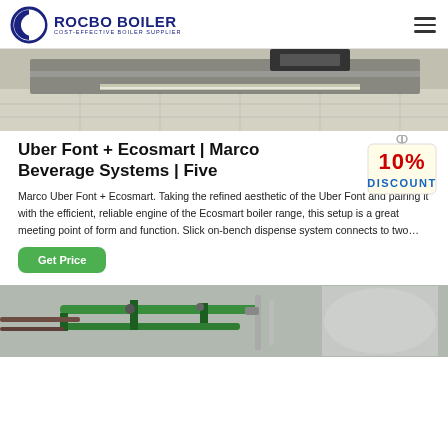ROCBO BOILER · COST-EFFECTIVE BOILER SUPPLIER
[Figure (photo): Top partial image of an industrial boiler or equipment installation on a tiled floor, showing metallic surfaces and a dark piece of machinery.]
Uber Font + Ecosmart | Marco Beverage Systems | Five
[Figure (infographic): 10% DISCOUNT badge — a hanging tag graphic with red bold '10%' and blue bold 'DISCOUNT' text on a white/cream background with a string/hook.]
Marco Uber Font + Ecosmart. Taking the refined aesthetic of the Uber Font and pairing it with the efficient, reliable engine of the Ecosmart boiler range, this setup is a great meeting point of form and function. Slick on-bench dispense system connects to two…
[Figure (photo): Bottom partial image showing an industrial boiler installation with green pipes, metallic cylindrical tank, and various pipe fittings.]